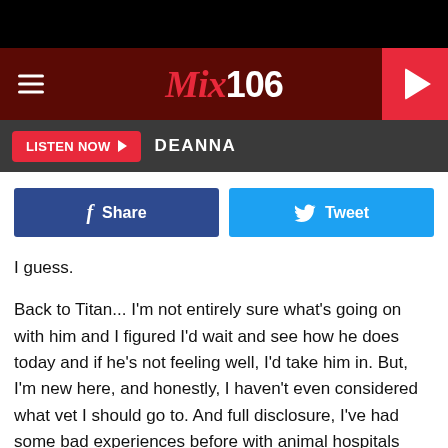[Figure (screenshot): Mix 106 radio website screenshot showing logo header with dark red background, hamburger menu, play button, navigation bar with LISTEN NOW button and DEANNA label, Facebook Share and Tweet social buttons, and article body text.]
LISTEN NOW
DEANNA
Share
Tweet
I guess.
Back to Titan... I'm not entirely sure what's going on with him and I figured I'd wait and see how he does today and if he's not feeling well, I'd take him in. But, I'm new here, and honestly, I haven't even considered what vet I should go to. And full disclosure, I've had some bad experiences before with animal hospitals trying to trick me into having hospitalizations and other things done that weren't